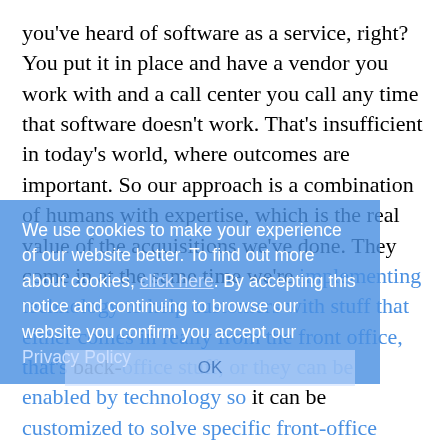you've heard of software as a service, right? You put it in place and have a vendor you work with and a call center you call any time that software doesn't work. That's insufficient in today's world, where outcomes are important. So our approach is a combination of humans with expertise, which is the real value of the acquisitions we've done. They come in at the same time we're implementing technology to help customers with stuff that either comes in really from the front office, that's back-office stuff, or they can be enabled by technology so it can be customized to solve specific front-office stuff.
MT: Can you break it down for us?
SB: We are focused on two really important categories so that we can be the best partners of our retailers. One is in stuff that you and I as consumers would interact with. The other big category is what we call clerically
We use cookies to make your experience of our website better. To find out more about cookies, click here. By accepting this notice and continuing to browse our website you confirm you accept our Privacy Policy